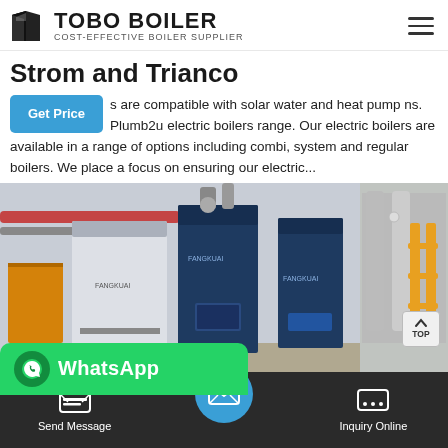TOBO BOILER — COST-EFFECTIVE BOILER SUPPLIER
Strom and Trianco
s are compatible with solar water and heat pump ns. Plumb2u electric boilers range. Our electric boilers are available in a range of options including combi, system and regular boilers. We place a focus on ensuring our electric...
[Figure (photo): Industrial boiler room showing large blue and white FANGKUAI branded boilers with pipes and equipment, alongside an industrial facility corridor with yellow scaffolding.]
WhatsApp
Send Message
Inquiry Online